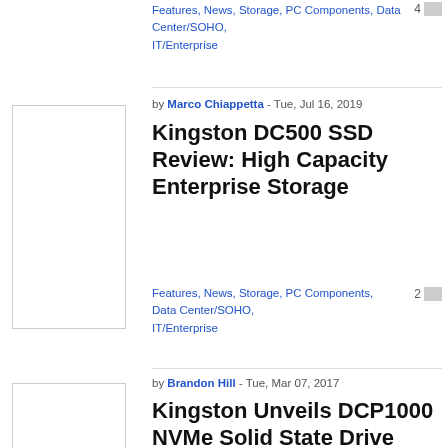Features, News, Storage, PC Components, Data Center/SOHO, IT/Enterprise
[Figure (photo): Thumbnail image placeholder for Kingston DC500 SSD Review article]
by Marco Chiappetta - Tue, Jul 16, 2019
Kingston DC500 SSD Review: High Capacity Enterprise Storage
Features, News, Storage, PC Components, Data Center/SOHO, IT/Enterprise
[Figure (photo): Thumbnail image placeholder for Kingston DCP1000 NVMe article]
by Brandon Hill - Tue, Mar 07, 2017
Kingston Unveils DCP1000 NVMe Solid State Drive With A Blistering 7GB/Sec Of Bandwidth